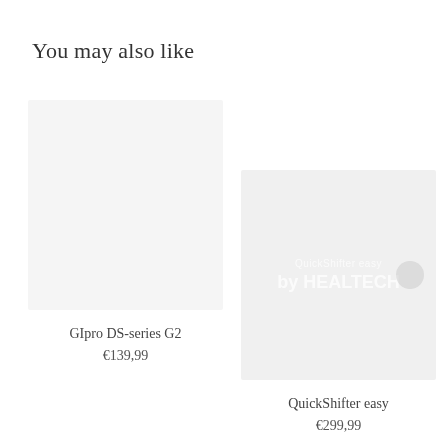You may also like
[Figure (photo): Product image placeholder for GIpro DS-series G2 — light grey rectangle]
GIpro DS-series G2
€139,99
[Figure (photo): Product image for QuickShifter easy — faded grey image with white text overlay showing product branding and a circular icon]
QuickShifter easy
€299,99